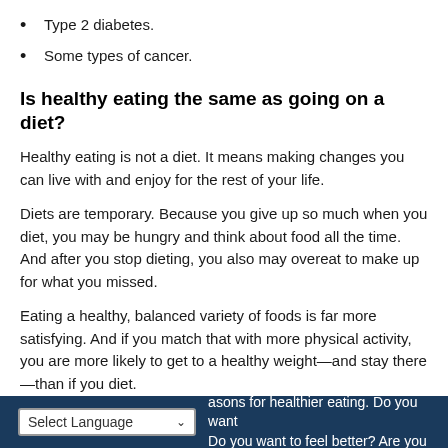Type 2 diabetes.
Some types of cancer.
Is healthy eating the same as going on a diet?
Healthy eating is not a diet. It means making changes you can live with and enjoy for the rest of your life.
Diets are temporary. Because you give up so much when you diet, you may be hungry and think about food all the time. And after you stop dieting, you also may overeat to make up for what you missed.
Eating a healthy, balanced variety of foods is far more satisfying. And if you match that with more physical activity, you are more likely to get to a healthy weight—and stay there—than if you diet.
How do you make healthy eating a habit?
asons for healthier eating. Do you want Do you want to feel better? Are you